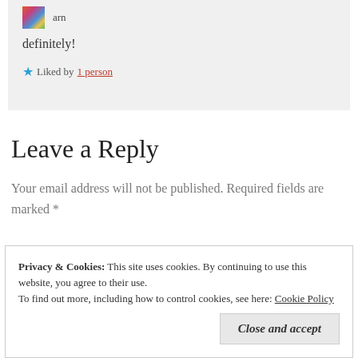arn
definitely!
★ Liked by 1 person
Leave a Reply
Your email address will not be published. Required fields are marked *
Privacy & Cookies: This site uses cookies. By continuing to use this website, you agree to their use.
To find out more, including how to control cookies, see here: Cookie Policy
Close and accept